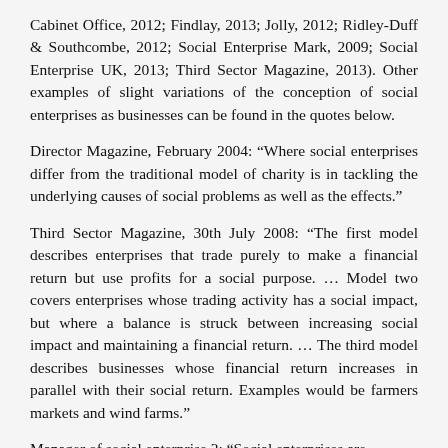Cabinet Office, 2012; Findlay, 2013; Jolly, 2012; Ridley-Duff & Southcombe, 2012; Social Enterprise Mark, 2009; Social Enterprise UK, 2013; Third Sector Magazine, 2013). Other examples of slight variations of the conception of social enterprises as businesses can be found in the quotes below.
Director Magazine, February 2004: “Where social enterprises differ from the traditional model of charity is in tackling the underlying causes of social problems as well as the effects.”
Third Sector Magazine, 30th July 2008: “The first model describes enterprises that trade purely to make a financial return but use profits for a social purpose. … Model two covers enterprises whose trading activity has a social impact, but where a balance is struck between increasing social impact and maintaining a financial return. … The third model describes businesses whose financial return increases in parallel with their social return. Examples would be farmers markets and wind farms.”
Manager of social enterprise 2: “Social enterprises are